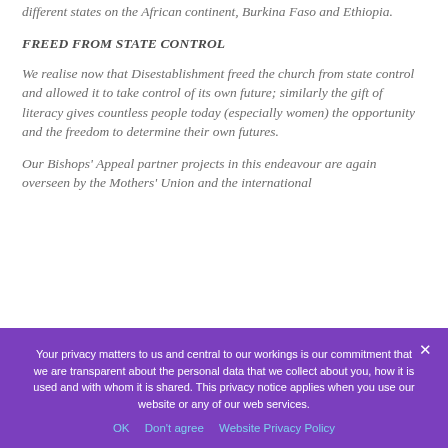different states on the African continent, Burkina Faso and Ethiopia.
FREED FROM STATE CONTROL
We realise now that Disestablishment freed the church from state control and allowed it to take control of its own future; similarly the gift of literacy gives countless people today (especially women) the opportunity and the freedom to determine their own futures.
Our Bishops' Appeal partner projects in this endeavour are again overseen by the Mothers' Union and the international
Your privacy matters to us and central to our workings is our commitment that we are transparent about the personal data that we collect about you, how it is used and with whom it is shared. This privacy notice applies when you use our website or any of our web services.
OK   Don't agree   Website Privacy Policy